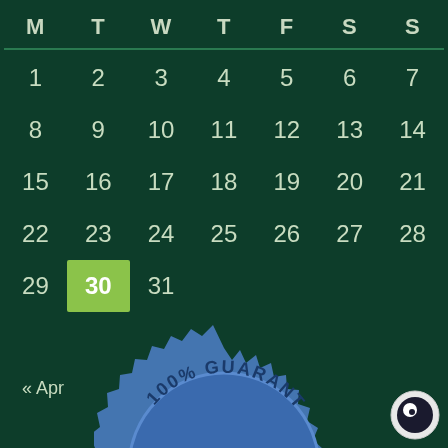| M | T | W | T | F | S | S |
| --- | --- | --- | --- | --- | --- | --- |
| 1 | 2 | 3 | 4 | 5 | 6 | 7 |
| 8 | 9 | 10 | 11 | 12 | 13 | 14 |
| 15 | 16 | 17 | 18 | 19 | 20 | 21 |
| 22 | 23 | 24 | 25 | 26 | 27 | 28 |
| 29 | 30 | 31 |  |  |  |  |
« Apr
[Figure (illustration): 100% Guarantee badge/seal in blue, partially visible at bottom of page]
[Figure (illustration): Cookie consent icon - circular button in bottom right corner]